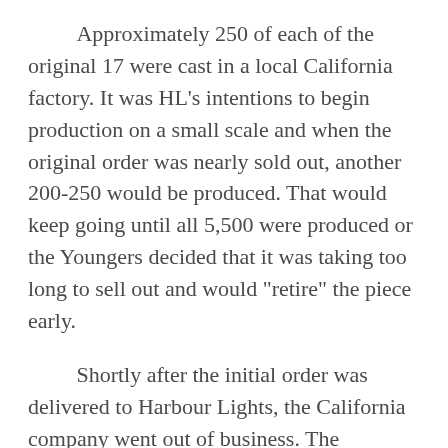Approximately 250 of each of the original 17 were cast in a local California factory. It was HL's intentions to begin production on a small scale and when the original order was nearly sold out, another 200-250 would be produced. That would keep going until all 5,500 were produced or the Youngers decided that it was taking too long to sell out and would "retire" the piece early.
Shortly after the initial order was delivered to Harbour Lights, the California company went out of business. The Youngers found another factory in Canada (Castle Studios) to produce their lighthouses and production was moved there.
The Youngers were never very happy about the quality of the Canadian pieces and after a short time (two years), a new factory in Malaysia was found that could produce the